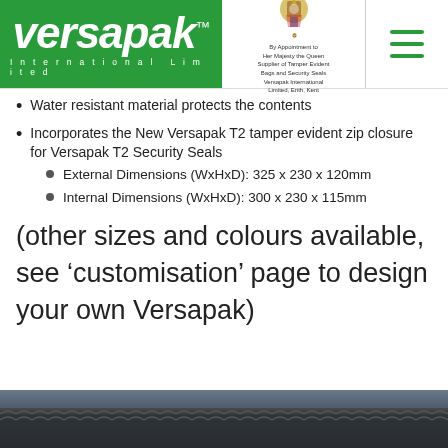Versapak International Limited — Navigation header with royal warrant
Water resistant material protects the contents
Incorporates the New Versapak T2 tamper evident zip closure for Versapak T2 Security Seals
External Dimensions (WxHxD): 325 x 230 x 120mm
Internal Dimensions (WxHxD): 300 x 230 x 115mm
(other sizes and colours available, see ‘customisation’ page to design your own Versapak)
[Figure (photo): Bottom strip showing a dark rooftop or building exterior photograph]